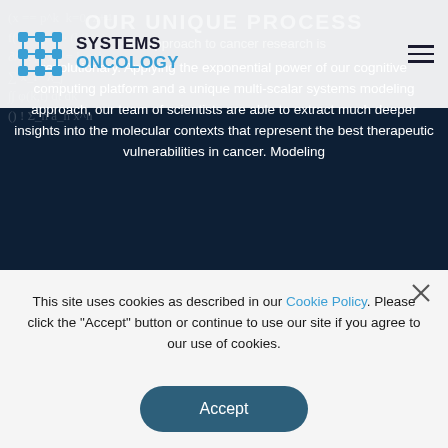Systems Oncology
OUR UNIQUE PROCESS
Our approach to cancer research is revolutionary. Applying the exponential power of our cognitive computing platform and a unique multi-scalar systems modeling approach, our team of scientists are able to extract much deeper insights into the molecular contexts that represent the best therapeutic vulnerabilities in cancer. Modeling
This site uses cookies as described in our Cookie Policy. Please click the "Accept" button or continue to use our site if you agree to our use of cookies.